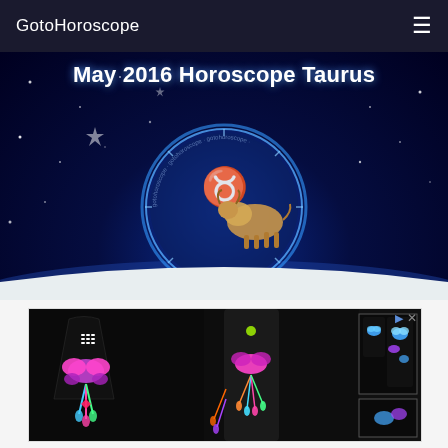GotoHoroscope
May 2016 Horoscope Taurus
[Figure (illustration): Taurus zodiac sign illustration: a glowing blue circular zodiac wheel with the Taurus symbol and a golden bull, set against a dark blue starry night sky background]
[Figure (photo): Advertisement banner showing colorful butterfly-themed athletic wear (tank tops and leggings) on black background with dreamcatcher motif designs]